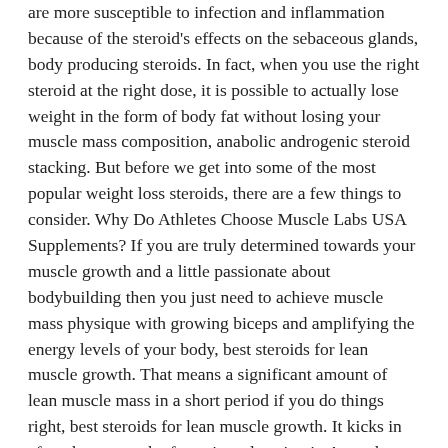are more susceptible to infection and inflammation because of the steroid's effects on the sebaceous glands, body producing steroids. In fact, when you use the right steroid at the right dose, it is possible to actually lose weight in the form of body fat without losing your muscle mass composition, anabolic androgenic steroid stacking. But before we get into some of the most popular weight loss steroids, there are a few things to consider. Why Do Athletes Choose Muscle Labs USA Supplements? If you are truly determined towards your muscle growth and a little passionate about bodybuilding then you just need to achieve muscle mass physique with growing biceps and amplifying the energy levels of your body, best steroids for lean muscle growth. That means a significant amount of lean muscle mass in a short period if you do things right, best steroids for lean muscle growth. It kicks in after about a week of consistently using it. As such, these supplements are essentially worthless, since your body can't make use of the DHEA, anabolic steroid cycle calculator. In addition to its testosterone boosting abilities, DHEA may be able to aid erectile dysfunction. Great element 4 highly effective bodybuilding stack is Boldenone